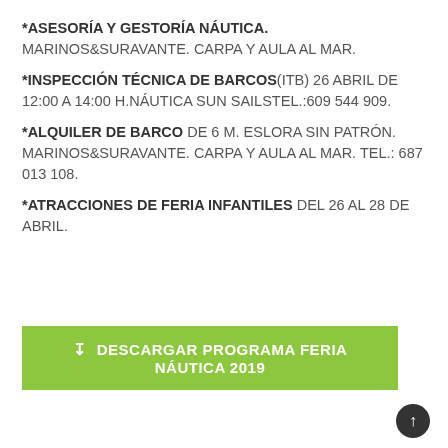*ASESORÍA Y GESTORÍA NÁUTICA. MARINOS&SURAVANTE. CARPA Y AULA AL MAR.
*INSPECCIÓN TÉCNICA DE BARCOS(ITB) 26 ABRIL DE 12:00 A 14:00 H.NÁUTICA SUN SAILSTEL.:609 544 909.
*ALQUILER DE BARCO DE 6 M. ESLORA SIN PATRÓN. MARINOS&SURAVANTE. CARPA Y AULA AL MAR. TEL.: 687 013 108.
*ATRACCIONES DE FERIA INFANTILES DEL 26 AL 28 DE ABRIL.
⬇ DESCARGAR PROGRAMA FERIA NÁUTICA 2019